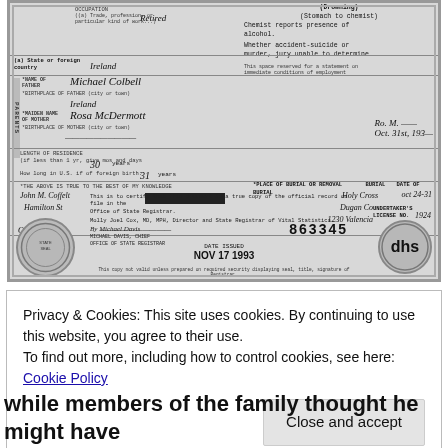[Figure (photo): Scanned death certificate document in black and white. Contains fields for occupation (Retired), birthplace (Ireland), father's name (Michael Colbell), father's birthplace (Ireland), mother's name (Rosa McDermott), mother's birthplace (handwritten, partially legible), age (30 years), foreign born (31 years), informant name and address (John M. Coffelt, Hamilton St), date filed (OCT 23, 1931), burial place (Holy Cross), burial date (Oct 24-31), undertaker (Dugan Co), undertaker address (1230 Valencia), cause of death including Drowning, Stomach to chemist, chemist reports presence of alcohol, whether accident-suicide or murder jury unable to determine, certificate number 863345, date issued NOV 17 1993, signed by Molly Joel Cox MD.]
Privacy & Cookies: This site uses cookies. By continuing to use this website, you agree to their use.
To find out more, including how to control cookies, see here: Cookie Policy
Close and accept
while members of the family thought he might have